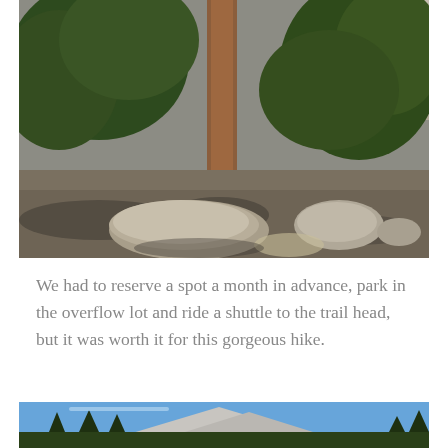[Figure (photo): Outdoor nature photo showing a forest trail scene with tall pine/fir trees, large boulders on a dirt/gravel ground, with dappled sunlight and shadows. Mountain setting, daytime.]
We had to reserve a spot a month in advance, park in the overflow lot and ride a shuttle to the trail head, but it was worth it for this gorgeous hike.
[Figure (photo): Partial view of a mountain landscape photo showing a bright blue sky, distant mountain peaks, and green treetops at the bottom edge. Cut off at the bottom of the page.]